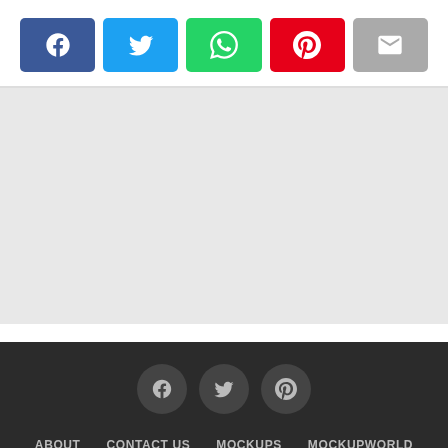[Figure (infographic): Social share buttons row: Facebook (blue), Twitter (cyan), WhatsApp (green), Pinterest (red), Email (gray)]
[Figure (infographic): Dark footer with three circular social icons (Facebook, Twitter, Pinterest) and navigation links: ABOUT, CONTACT US, MOCKUPS, MOCKUPWORLD]
ABOUT   CONTACT US   MOCKUPS   MOCKUPWORLD